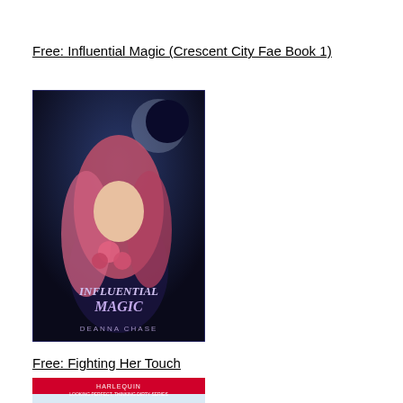Free: Influential Magic (Crescent City Fae Book 1)
[Figure (illustration): Book cover for 'Influential Magic' by Deanna Chase — shows a woman with pink/red flowing hair holding roses against a dark blue background with a crescent moon. Text reads 'INFLUENTIAL MAGIC' and 'DEANNA CHASE'.]
Free: Fighting Her Touch
[Figure (illustration): Book cover for 'Fighting Her Touch' Book 2 by P.T. Carter — shows a person in surgical scrubs and a mask with a stethoscope. Text reads 'FIGHTING HER Touch BOOK 2' with a Harlequin logo at top.]
Free: SPIRITWALKER
[Figure (illustration): Book cover for 'SPIRITWALKER' — shows dark fiery background with 'LIMELIGHT PRESENTS' text visible at the top.]